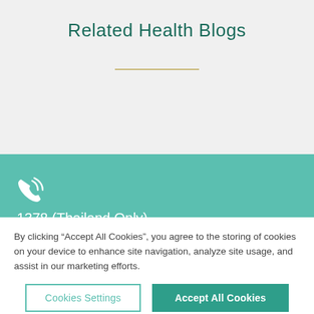Related Health Blogs
1378 (Thailand Only)
By clicking “Accept All Cookies”, you agree to the storing of cookies on your device to enhance site navigation, analyze site usage, and assist in our marketing efforts.
Cookies Settings
Accept All Cookies